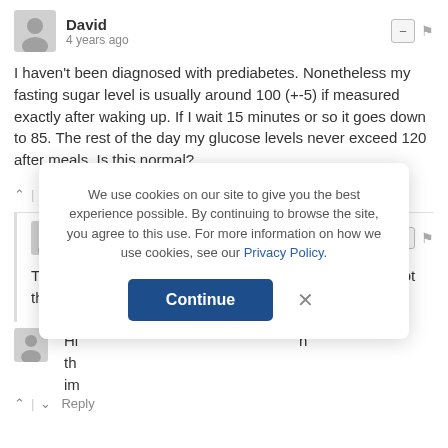David
4 years ago
I haven't been diagnosed with prediabetes. Nonetheless my fasting sugar level is usually around 100 (+-5) if measured exactly after waking up. If I wait 15 minutes or so it goes down to 85. The rest of the day my glucose levels never exceed 120 after meals. Is this normal?
Reply
Virta Health → David
4 years ago
The dawn phenomenon can affect anyone, whether or not they have diabetes.
We use cookies on our site to give you the best experience possible. By continuing to browse the site, you agree to this use. For more information on how we use cookies, see our Privacy Policy.
Continue
Reply